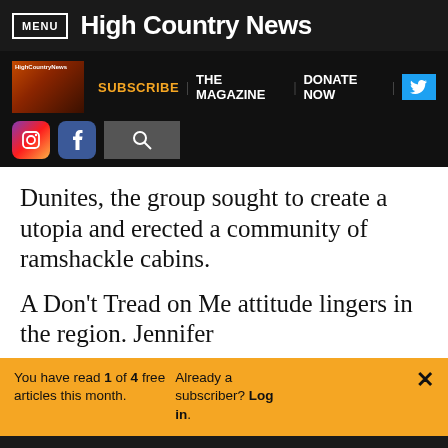MENU | High Country News
[Figure (screenshot): High Country News website navigation bar with logo thumbnail, SUBSCRIBE, THE MAGAZINE, DONATE NOW links, Twitter, Instagram, Facebook, and search icons]
Dunites, the group sought to create a utopia and erected a community of ramshackle cabins.
A Don't Tread on Me attitude lingers in the region. Jennifer
You have read 1 of 4 free articles this month. Already a subscriber? Log in.
Support independent journalism. Subscribe